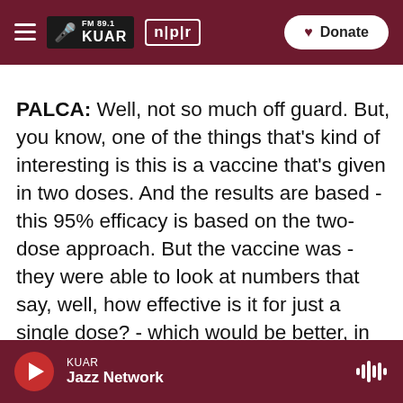FM 89.1 KUAR | npr | Donate
PALCA: Well, not so much off guard. But, you know, one of the things that's kind of interesting is this is a vaccine that's given in two doses. And the results are based - this 95% efficacy is based on the two-dose approach. But the vaccine was - they were able to look at numbers that say, well, how effective is it for just a single dose? - which would be better, in fact, for a public health point of view because you'd have that many more doses that you could hand out. And in that case, it was more than 80% effective. Now, obviously, that's not as good as 90% or 95% effective. But if you're thinking about
KUAR | Jazz Network